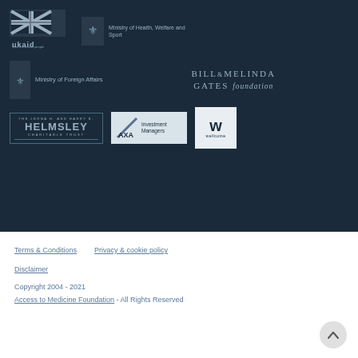[Figure (logo): UKaid from the British people logo - dark blue background with Union Jack flag and UKaid text]
[Figure (logo): Netherlands Ministry of Health, Welfare and Sport logo with coat of arms]
[Figure (logo): Netherlands Ministry of Foreign Affairs logo with coat of arms]
[Figure (logo): Bill and Melinda Gates Foundation logo]
[Figure (logo): The Leona H. and Harry B. Helmsley Charitable Trust logo]
[Figure (logo): AXA Investment Managers logo]
[Figure (logo): Wellcome logo - W on light background]
Terms & Conditions
Privacy & cookie policy
Disclaimer
Copyright 2004 - 2021
Access to Medicine Foundation - All Rights Reserved